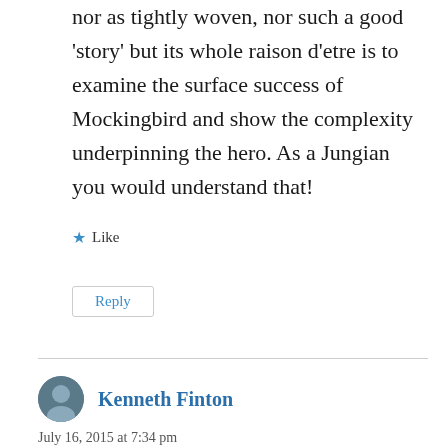nor as tightly woven, nor such a good 'story' but its whole raison d'etre is to examine the surface success of Mockingbird and show the complexity underpinning the hero. As a Jungian you would understand that!
★ Like
Reply
Kenneth Finton
July 16, 2015 at 7:34 pm